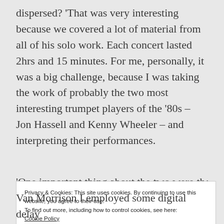dispersed? 'That was very interesting because we covered a lot of material from all of his solo work. Each concert lasted 2hrs and 15 minutes. For me, personally, it was a big challenge, because I was taking the work of probably the two most interesting trumpet players of the '80s – Jon Hassell and Kenny Wheeler – and interpreting their performances.
'One important thing about the two were the
Privacy & Cookies: This site uses cookies. By continuing to use this website, you agree to their use.
To find out more, including how to control cookies, see here: Cookie Policy
Van Morrison I employed some digital delay